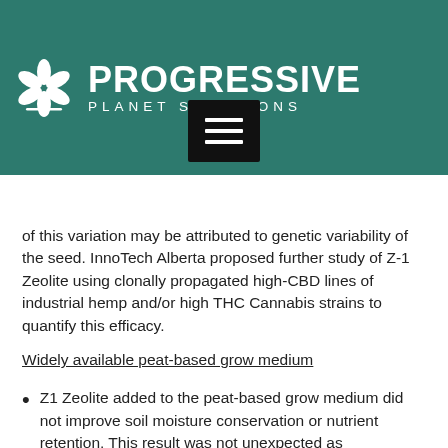[Figure (logo): Progressive Planet Solutions logo with stylized tree/leaf icon on teal background, white text reading PROGRESSIVE PLANET SOLUTIONS]
of this variation may be attributed to genetic variability of the seed. InnoTech Alberta proposed further study of Z-1 Zeolite using clonally propagated high-CBD lines of industrial hemp and/or high THC Cannabis strains to quantify this efficacy.
Widely available peat-based grow medium
Z1 Zeolite added to the peat-based grow medium did not improve soil moisture conservation or nutrient retention. This result was not unexpected as